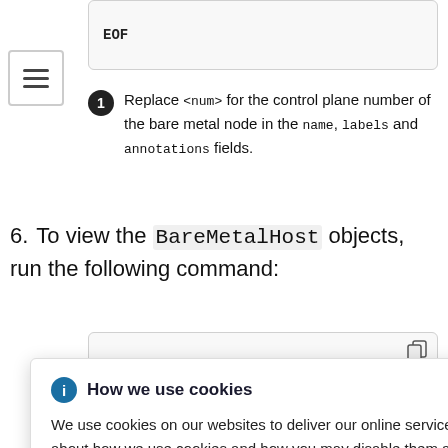EOF
[Figure (screenshot): Menu/hamburger icon button with three horizontal lines]
Replace <num> for the control plane number of the bare metal node in the name, labels and annotations fields.
6. To view the BareMetalHost objects, run the following command:
[Figure (screenshot): Code block showing partial command with copy icon]
[Figure (screenshot): Cookie consent dialog: How we use cookies. We use cookies on our websites to deliver our online services. Details about how we use cookies and how you may disable them are set out in our Privacy Statement. By using this website you agree to our use of cookies.]
ATE
ovisioned
ternally pro
ternally pro
compute-1.example.com   provisioned